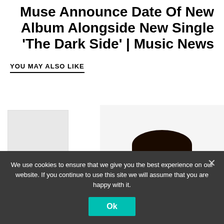Muse Announce Date Of New Album Alongside New Single 'The Dark Side' | Music News
YOU MAY ALSO LIKE
[Figure (photo): Small thumbnail placeholder image on the left and a photo of a young smiling man with short hair and beard wearing a dark jacket on the right]
We use cookies to ensure that we give you the best experience on our website. If you continue to use this site we will assume that you are happy with it.